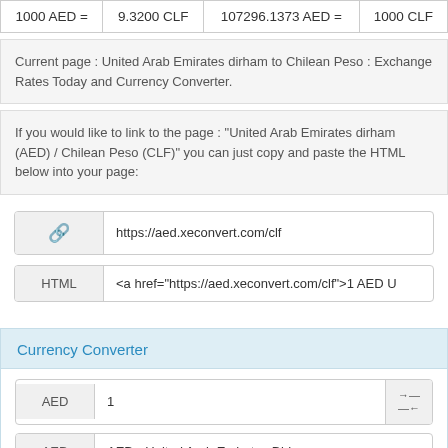| 1000 AED = | 9.3200 CLF | 107296.1373 AED = | 1000 CLF |
Current page : United Arab Emirates dirham to Chilean Peso : Exchange Rates Today and Currency Converter.
If you would like to link to the page : "United Arab Emirates dirham (AED) / Chilean Peso (CLF)" you can just copy and paste the HTML below into your page:
https://aed.xeconvert.com/clf
<a href="https://aed.xeconvert.com/clf">1 AED U
Currency Converter
AED  1
AED - United Arab Emirates Dirham